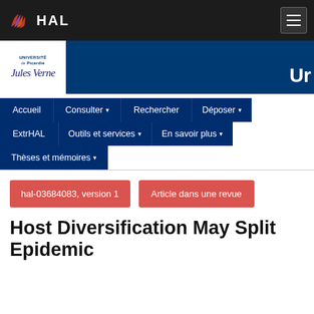[Figure (logo): HAL open archive logo with red/purple striped shell icon and white HAL text on dark background, with hamburger menu icon]
[Figure (logo): Université de Picardie Jules Verne logo on white background within dark blue university banner header]
Ur
Accueil
Consulter ▾
Rechercher
Déposer ▾
ExtrHAL
Outils et services ▾
En savoir plus ▾
Thèses et mémoires ▾
hal-03684083, version 1
Article dans une revue
Host Diversification May Split Epidemic